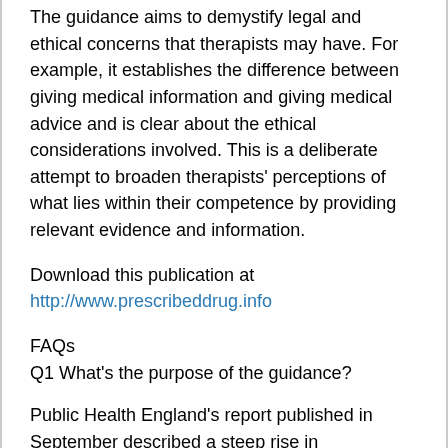The guidance aims to demystify legal and ethical concerns that therapists may have. For example, it establishes the difference between giving medical information and giving medical advice and is clear about the ethical considerations involved. This is a deliberate attempt to broaden therapists' perceptions of what lies within their competence by providing relevant evidence and information.
Download this publication at http://www.prescribeddrug.info
FAQs
Q1 What's the purpose of the guidance?
Public Health England's report published in September described a steep rise in prescriptions (which have broadly doubled in the last 20 years) which means that most psychological therapists now work with clients